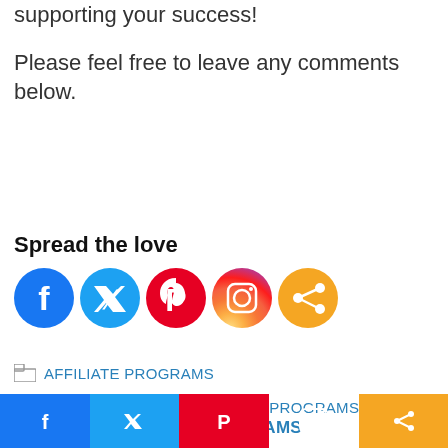supporting your success!
Please feel free to leave any comments below.
Spread the love
[Figure (infographic): Social sharing icons: Facebook, Twitter, Pinterest, Instagram, Share]
AFFILIATE PROGRAMS
FITNESS TRACKER AFFILIATE PROGRAMS, TOP 10 AFFILIATE PROGRAMS
< Top 10 Resort Affiliate Programmes To
[Figure (infographic): Bottom navigation bar with social icons: Facebook, Twitter, Pinterest, Instagram, Share]